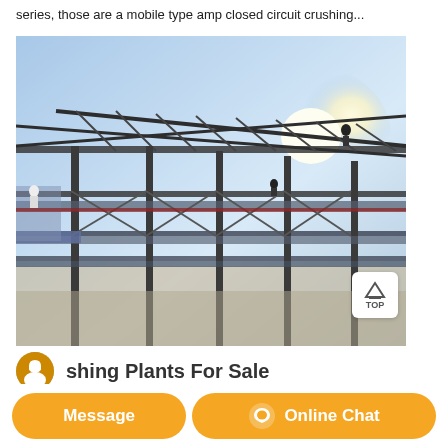series, those are a mobile type amp closed circuit crushing...
[Figure (photo): Industrial steel structure/framework installation with workers on elevated platforms, conveyor belt structures visible, blue sky background with bright sunlight]
Crushing Plants For Sale
Message
Online Chat